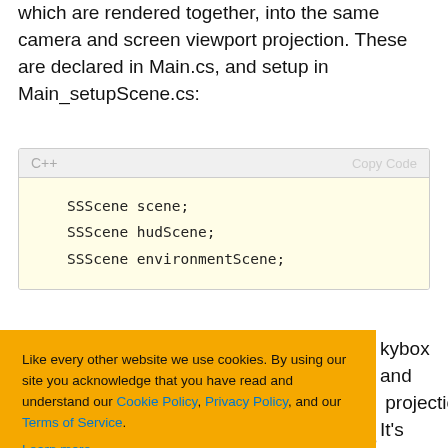which are rendered together, into the same camera and screen viewport projection. These are declared in Main.cs, and setup in Main_setupScene.cs:
[Figure (screenshot): C++ code block with header showing 'C++' and 'Copy Code', containing three lines: SSScene scene; SSScene hudScene; SSScene environmentScene;]
kybox and projection". It's amera rotation, esting and is ce of being
[Figure (other): Cookie consent overlay with orange background. Text: 'Like every other website we use cookies. By using our site you acknowledge that you have read and understand our Cookie Policy, Privacy Policy, and our Terms of Service. Learn more'. Buttons: Ask me later, Decline, Allow cookies.]
ay and ecial scene
which is rendered without a 3d perspective projection